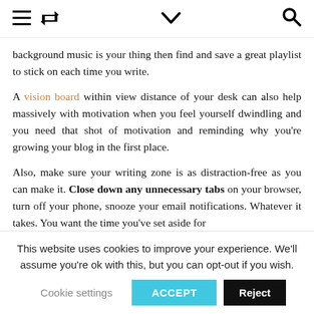≡ ↺ ∨ 🔍
background music is your thing then find and save a great playlist to stick on each time you write.
A vision board within view distance of your desk can also help massively with motivation when you feel yourself dwindling and you need that shot of motivation and reminding why you're growing your blog in the first place.
Also, make sure your writing zone is as distraction-free as you can make it. Close down any unnecessary tabs on your browser, turn off your phone, snooze your email notifications. Whatever it takes. You want the time you've set aside for
This website uses cookies to improve your experience. We'll assume you're ok with this, but you can opt-out if you wish.
Cookie settings  ACCEPT  Reject